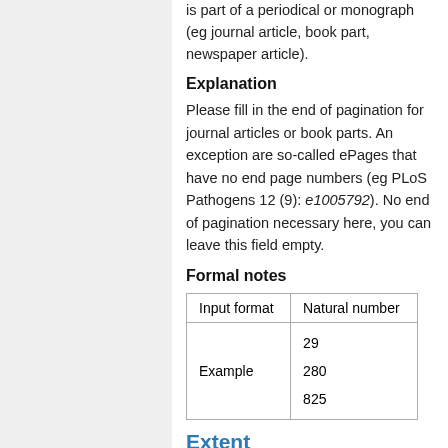is part of a periodical or monograph (eg journal article, book part, newspaper article).
Explanation
Please fill in the end of pagination for journal articles or book parts. An exception are so-called ePages that have no end page numbers (eg PLoS Pathogens 12 (9): e1005792). No end of pagination necessary here, you can leave this field empty.
Formal notes
| Input format | Natural number |
| --- | --- |
| Example | 29
280
825 |
Extent